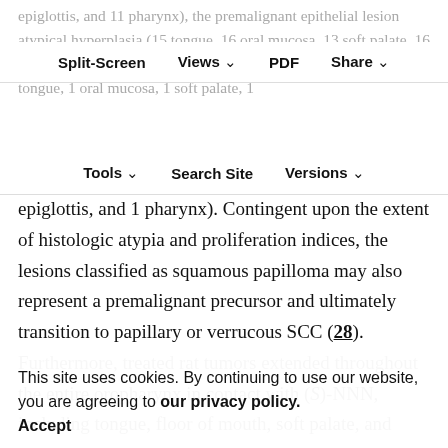epiglottis, and 11 pharynx), the premalignant epithelial lesion atypical hyperplasia (15 tongue, 16 oral mucosa, 13 soft palate, 16 epiglottis, and 16 pharynx), and the overtly malignant SCC (2 tongue, 1 oral mucosa, 1 soft palate, 1
Split-Screen | Views | PDF | Share | Tools | Search Site | Versions
epiglottis, and 1 pharynx). Contingent upon the extent of histologic atypia and proliferation indices, the lesions classified as squamous papilloma may also represent a premalignant precursor and ultimately transition to papillary or verrucous SCC (28). Furthermore, treated rat tumors extended throughout the entire oropharynx in contact with (S)-NNN, including tongue, floor of mouth, soft palate, and pharynx (28). Notably, the patient's levels of total NNN exposure (estimated 113.5 mg total over 10
This site uses cookies. By continuing to use our website, you are agreeing to our privacy policy. Accept